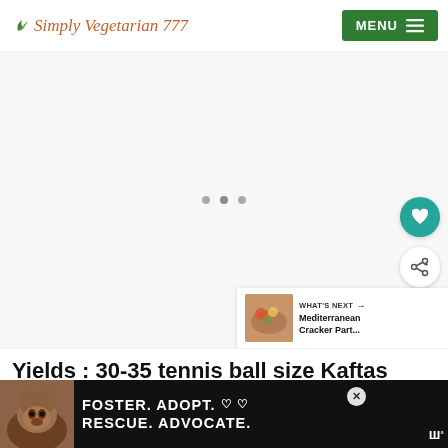Simply Vegetarian 777 | MENU
[Figure (screenshot): Main content image area placeholder with three loading dots, floating heart and share buttons, and a 'What's Next' card showing 'Mediterranean Cracker Part...']
Yields : 30-35 tennis ball size Kaftas
[Figure (photo): Advertisement banner: dark background with dog image on left, text 'FOSTER. ADOPT. RESCUE. ADVOCATE.' with heart icons, close button, and Wunderkind logo]